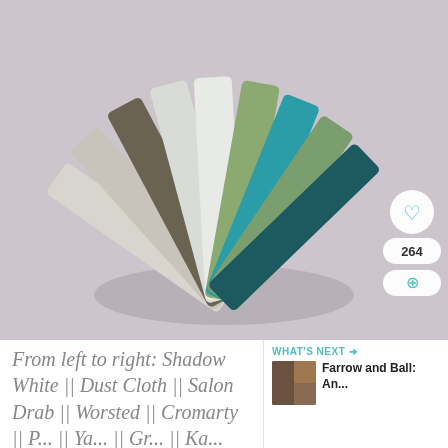[Figure (photo): Fan of paint color swatches spread out on a light grey surface. Colors from left to right include light grey (Shadow White), dark taupe/brown (Dust), olive/khaki (Cloth), light neutral (Salon Drab), white-grey (Worsted), pale green (Cromarty), bright teal, sage green, and dark teal/navy. A teal satin ribbon ties them together at the bottom.]
From left to right: Shadow White || Dust Cloth || Salon Drab || Worsted || Cromarty || Bri... || Yar... || Gr... || Ka...